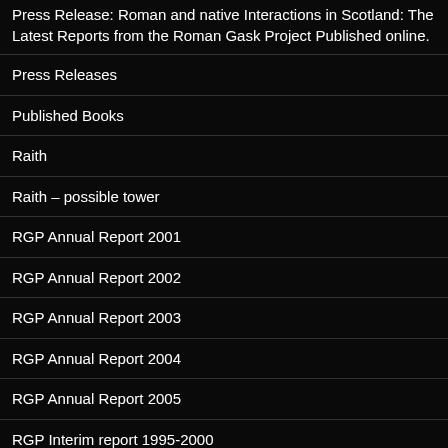Press Release: Roman and native Interactions in Scotland: The Latest Reports from the Roman Gask Project Published online.
Press Releases
Published Books
Raith
Raith – possible tower
RGP Annual Report 2001
RGP Annual Report 2002
RGP Annual Report 2003
RGP Annual Report 2004
RGP Annual Report 2005
RGP Interim report 1995-2000
Roman Gask Bibliography
Roman Gask Project Research Outline 2019-2022 Glenoch – Mining